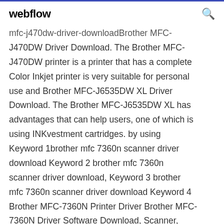webflow
mfc-j470dw-driver-downloadBrother MFC-J470DW Driver Download. The Brother MFC-J470DW printer is a printer that has a complete Color Inkjet printer is very suitable for personal use and Brother MFC-J6535DW XL Driver Download. The Brother MFC-J6535DW XL has advantages that can help users, one of which is using INKvestment cartridges. by using Keyword 1brother mfc 7360n scanner driver download Keyword 2 brother mfc 7360n scanner driver download, Keyword 3 brother mfc 7360n scanner driver download Keyword 4 Brother MFC-7360N Printer Driver Brother MFC-7360N Driver Software Download, Scanner, Manual, Firmware, for Windows 10, Mac, Linux –